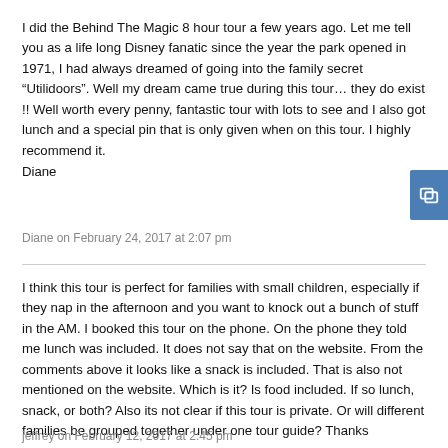I did the Behind The Magic 8 hour tour a few years ago. Let me tell you as a life long Disney fanatic since the year the park opened in 1971, I had always dreamed of going into the family secret “Utilidoors”. Well my dream came true during this tour… they do exist !! Well worth every penny, fantastic tour with lots to see and I also got lunch and a special pin that is only given when on this tour. I highly recommend it.
Diane
Diane on February 24, 2017 at 2:07 pm
I think this tour is perfect for families with small children, especially if they nap in the afternoon and you want to knock out a bunch of stuff in the AM. I booked this tour on the phone. On the phone they told me lunch was included. It does not say that on the website. From the comments above it looks like a snack is included. That is also not mentioned on the website. Which is it? Is food included. If so lunch, snack, or both? Also its not clear if this tour is private. Or will different families be grouped together under one tour guide? Thanks
jeffrey on February 12, 2017 at 2:45 pm